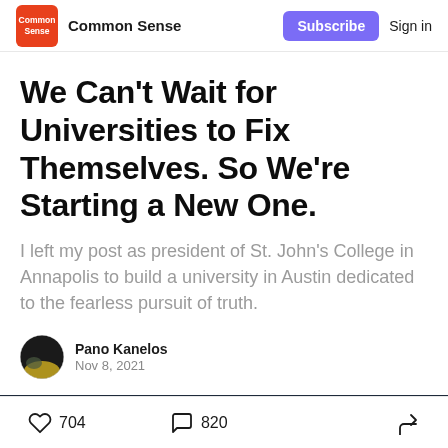Common Sense
We Can't Wait for Universities to Fix Themselves. So We're Starting a New One.
I left my post as president of St. John's College in Annapolis to build a university in Austin dedicated to the fearless pursuit of truth.
Pano Kanelos
Nov 8, 2021
704 likes · 820 comments